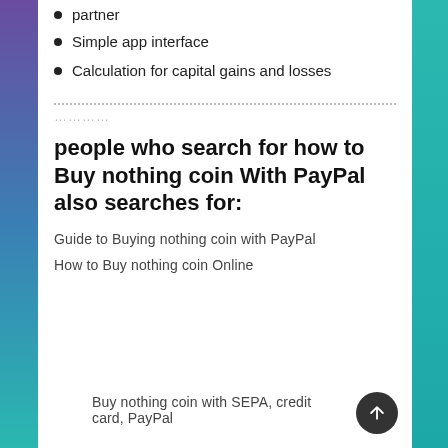partner
Simple app interface
Calculation for capital gains and losses
people who search for how to Buy nothing coin With PayPal also searches for:
Guide to Buying nothing coin with PayPal
How to Buy nothing coin Online
Buy nothing coin with SEPA, credit card, PayPal